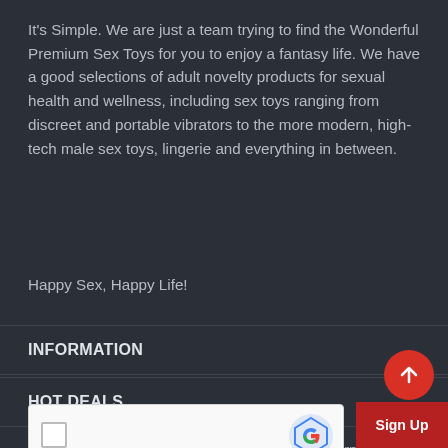It's Simple. We are just a team trying to find the Wonderful Premium Sex Toys for you to enjoy a fantasy life. We have a good selections of adult novelty products for sexual health and wellness, including sex toys ranging from discreet and portable vibrators to the more modern, high-tech male sex toys, lingerie and everything in between.
Happy Sex, Happy Life!
INFORMATION
HOT DEALS
You may unsubscribe at any moment. For that purpose, please find our contact info in the legal notice.
[Figure (other): reCAPTCHA widget with checkbox and CAPTCHA logo icons]